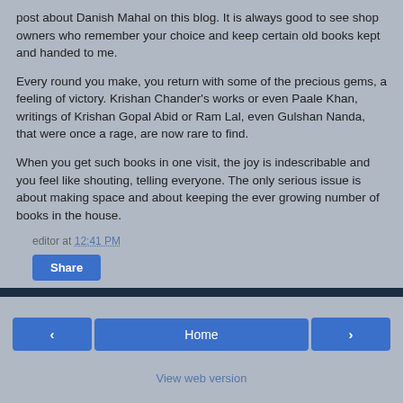post about Danish Mahal on this blog. It is always good to see shop owners who remember your choice and keep certain old books kept and handed to me.
Every round you make, you return with some of the precious gems, a feeling of victory. Krishan Chander's works or even Paale Khan, writings of Krishan Gopal Abid or Ram Lal, even Gulshan Nanda, that were once a rage, are now rare to find.
When you get such books in one visit, the joy is indescribable and you feel like shouting, telling everyone. The only serious issue is about making space and about keeping the ever growing number of books in the house.
editor at 12:41 PM
Share
‹   Home   ›   View web version